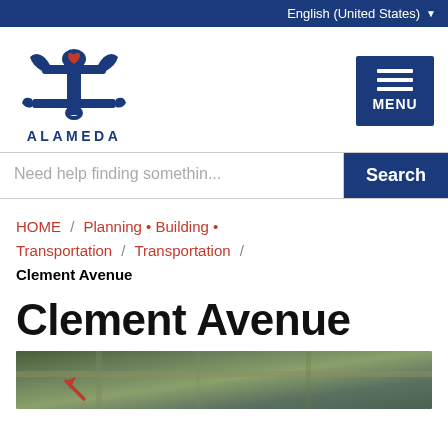English (United States)
[Figure (logo): Alameda city logo: blue anchor/lighthouse symbol with red heart, with ALAMEDA text below in blue]
[Figure (other): Blue menu button with three white horizontal lines and MENU label]
Need help finding somethin...
Search
HOME / Planning • Building • Transportation / Transportation / Clement Avenue
Clement Avenue
[Figure (map): Aerial satellite map view of Clement Avenue area in Alameda with a red arrow indicator]